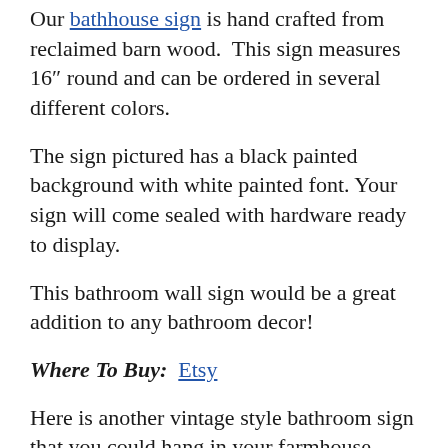Our bathhouse sign is hand crafted from reclaimed barn wood.  This sign measures 16" round and can be ordered in several different colors.
The sign pictured has a black painted background with white painted font. Your sign will come sealed with hardware ready to display.
This bathroom wall sign would be a great addition to any bathroom decor!
Where To Buy:  Etsy
Here is another vintage style bathroom sign that you could hang in your farmhouse bathroom.
Vintage Bath House Sign, Modern